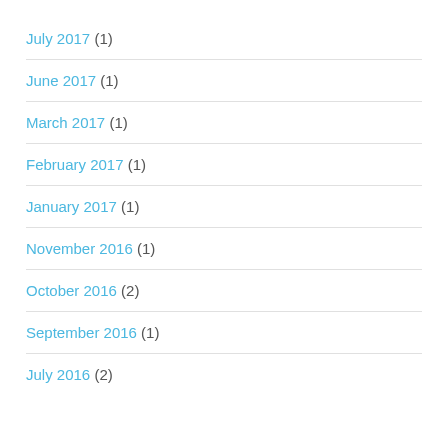July 2017 (1)
June 2017 (1)
March 2017 (1)
February 2017 (1)
January 2017 (1)
November 2016 (1)
October 2016 (2)
September 2016 (1)
July 2016 (2)